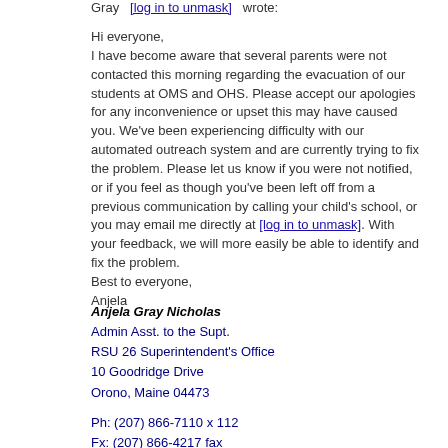Gray  [log in to unmask]  wrote:
Hi everyone,
I have become aware that several parents were not contacted this morning regarding the evacuation of our students at OMS and OHS.  Please accept our apologies for any inconvenience or upset this may have caused you.  We've been experiencing difficulty with our automated outreach system and are currently trying to fix the problem.  Please let us know if you were not notified, or if you feel as though you've been left off from a previous communication by calling your child's school, or you may email me directly at [log in to unmask].  With your feedback, we will more easily be able to identify and fix the problem.
Best to everyone,
Anjela
Anjela Gray Nicholas
Admin Asst. to the Supt.
RSU 26 Superintendent's Office
10 Goodridge Drive
Orono, Maine  04473

Ph: (207) 866-7110  x 112
Fx: (207) 866-4217  fax